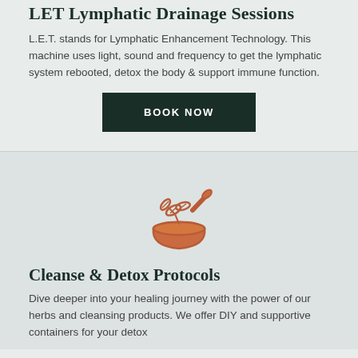LET Lymphatic Drainage Sessions
L.E.T. stands for Lymphatic Enhancement Technology. This machine uses light, sound and frequency to get the lymphatic system rebooted, detox the body & support immune function.
[Figure (other): Dark green button with white bold uppercase text reading BOOK NOW]
[Figure (illustration): Mortar and pestle icon with herbs, drawn in terracotta/burnt orange color]
Cleanse & Detox Protocols
Dive deeper into your healing journey with the power of our herbs and cleansing products. We offer DIY and supportive containers for your detox